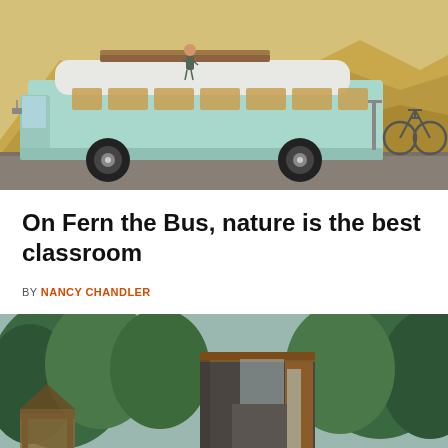[Figure (photo): A mint/light teal colored school bus converted to a home on wheels, parked in front of tan/golden badlands hills. A person stands on top of the bus near wooden surfboard/paddleboard racks. A bicycle is mounted on the back. The bus has large windows along its side.]
On Fern the Bus, nature is the best classroom
BY NANCY CHANDLER
[Figure (photo): A modern tiny house or small modular structure with dark gray/charcoal concrete-like exterior walls and warm wood accents around the doorway/entrance. The structure is set among lush green trees. There are additional rustic wooden structures visible in the background left.]